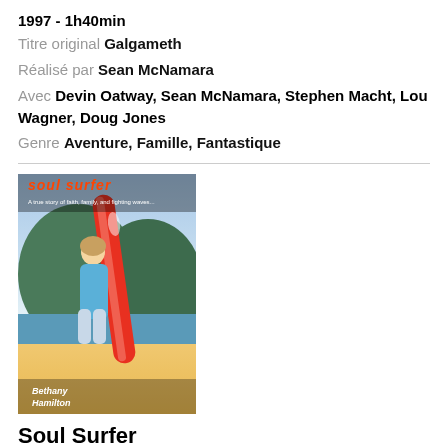1997 - 1h40min
Titre original Galgameth
Réalisé par Sean McNamara
Avec Devin Oatway, Sean McNamara, Stephen Macht, Lou Wagner, Doug Jones
Genre Aventure, Famille, Fantastique
[Figure (photo): Movie cover for Soul Surfer showing a young girl holding a surfboard on a beach]
Soul Surfer
2011 - 1h46min
Titre original Soul Surfer
Réalisé par Sean McNamara
Avec AnnaSophia Robb, Dennis Quaid, Helen Hunt, Carrie Underwood, Lorraine Nicholson, Kevin Sorbo, Sonya Balmores, Chris Brochu, Christie Brooke, David Chokachi, Kelly Crean, Yasmin Dar, Irie Driscoll, Faith Fay, John Mitchell Fultz, Cody Gomes, Kim Morgan Greene, Dutch